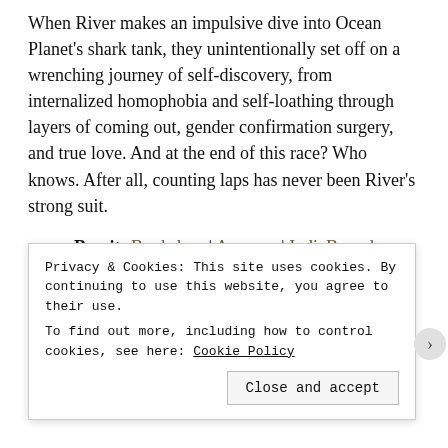When River makes an impulsive dive into Ocean Planet's shark tank, they unintentionally set off on a wrenching journey of self-discovery, from internalized homophobia and self-loathing through layers of coming out, gender confirmation surgery, and true love. And at the end of this race? Who knows. After all, counting laps has never been River's strong suit.
Buy it: Bookshop | Amazon | IndieBound
Preorder
Ben and Beatriz by Katalina Gamarra
Privacy & Cookies: This site uses cookies. By continuing to use this website, you agree to their use.
To find out more, including how to control cookies, see here: Cookie Policy
Close and accept